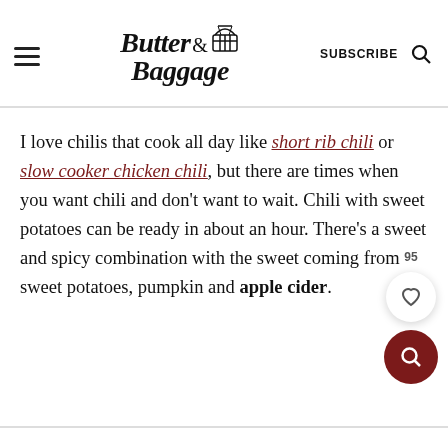Butter & Baggage — SUBSCRIBE
I love chilis that cook all day like short rib chili or slow cooker chicken chili, but there are times when you want chili and don't want to wait. Chili with sweet potatoes can be ready in about an hour. There's a sweet and spicy combination with the sweet coming from sweet potatoes, pumpkin and apple cider.